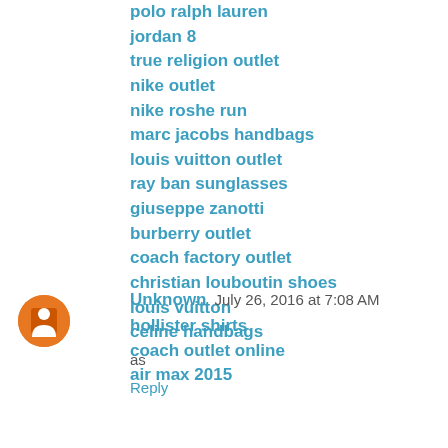polo ralph lauren
jordan 8
true religion outlet
nike outlet
nike roshe run
marc jacobs handbags
louis vuitton outlet
ray ban sunglasses
giuseppe zanotti
burberry outlet
coach factory outlet
christian louboutin shoes
louis vuitton
celine handbags
as
Reply
Unknown  July 26, 2016 at 7:08 AM
hollister shirts
coach outlet online
air max 2015